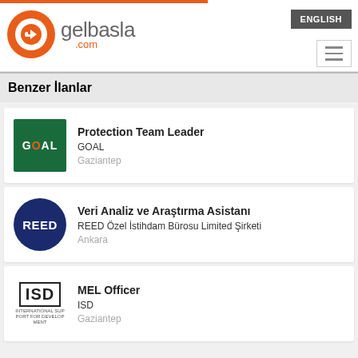[Figure (logo): gelbasla.com website logo with orange circular icon and gray text]
Benzer İlanlar
Protection Team Leader — GOAL — Gaziantep
Veri Analiz ve Araştırma Asistanı — REED Özel İstihdam Bürosu Limited Şirketi — Ankara
MEL Officer — ISD — Gaziantep